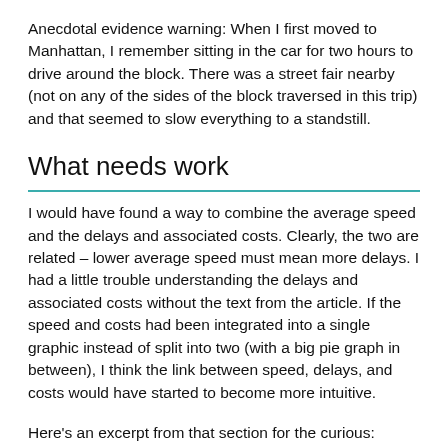Anecdotal evidence warning: When I first moved to Manhattan, I remember sitting in the car for two hours to drive around the block. There was a street fair nearby (not on any of the sides of the block traversed in this trip) and that seemed to slow everything to a standstill.
What needs work
I would have found a way to combine the average speed and the delays and associated costs. Clearly, the two are related – lower average speed must mean more delays. I had a little trouble understanding the delays and associated costs without the text from the article. If the speed and costs had been integrated into a single graphic instead of split into two (with a big pie graph in between), I think the link between speed, delays, and costs would have started to become more intuitive.
Here's an excerpt from that section for the curious: